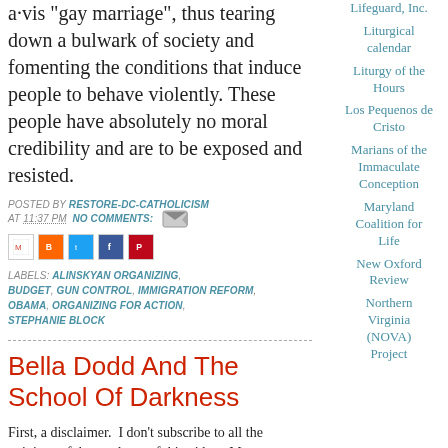a-vis 'gay marriage', thus tearing down a bulwark of society and fomenting the conditions that induce people to behave violently.  These people have absolutely no moral credibility and are to be exposed and resisted.
POSTED BY RESTORE-DC-CATHOLICISM AT 11:37 PM  NO COMMENTS:
[Figure (other): Share icons: email, blogger, twitter, facebook, pinterest]
LABELS: ALINSKYAN ORGANIZING, BUDGET, GUN CONTROL, IMMIGRATION REFORM, OBAMA, ORGANIZING FOR ACTION, STEPHANIE BLOCK
Bella Dodd And The School Of Darkness
First, a disclaimer.  I don't subscribe to all the opinions of the producer of this video.  Most
Lifeguard, Inc.
Liturgical calendar
Liturgy of the Hours
Los Pequenos de Cristo
Marians of the Immaculate Conception
Maryland Coalition for Life
New Oxford Review
Northern Virginia (NOVA) Project